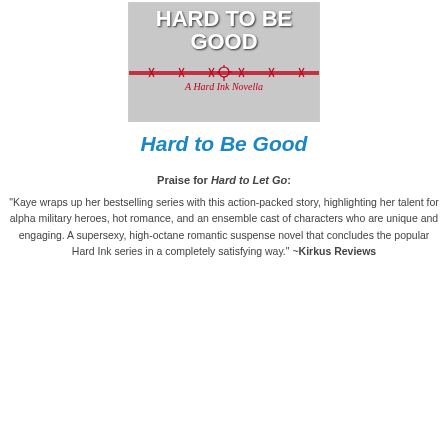[Figure (illustration): Book cover for 'Hard to Be Good: A Hard Ink Novella' showing title text in bold white letters and red italic subtitle script, with barbed wire graphic element on a grey background.]
Hard to Be Good
Praise for Hard to Let Go:
“Kaye wraps up her bestselling series with this action-packed story, highlighting her talent for alpha military heroes, hot romance, and an ensemble cast of characters who are unique and engaging. A supersexy, high-octane romantic suspense novel that concludes the popular Hard Ink series in a completely satisfying way.” –Kirkus Reviews